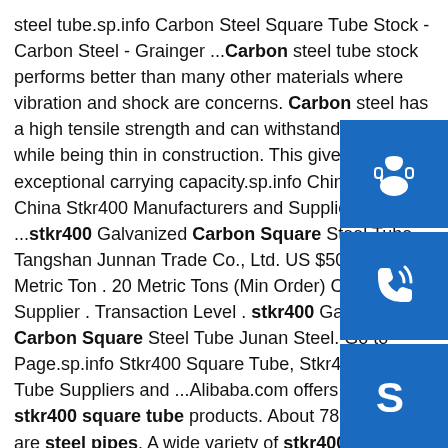steel tube.sp.info Carbon Steel Square Tube Stock - Carbon Steel - Grainger ...Carbon steel tube stock performs better than many other materials where vibration and shock are concerns. Carbon steel has a high tensile strength and can withstand pressure while being thin in construction. This gives it exceptional carrying capacity.sp.info China Stkr400, China Stkr400 Manufacturers and Suppliers ...stkr400 Galvanized Carbon Square Steel Tube. Tangshan Junnan Trade Co., Ltd. US $500-620 / Metric Ton . 20 Metric Tons (Min Order) Contact Supplier . Transaction Level . stkr400 Galvanized Carbon Square Steel Tube Junan Steel. Go to Page.sp.info Stkr400 Square Tube, Stkr400 Square Tube Suppliers and ...Alibaba.com offers 443 stkr400 square tube products. About 78% of these are steel pipes. A wide variety of stkr400 square tube options are available to you, such as 10#, a53(a,b), and q235. You can also choose from astm, api, and bs. As well as from structure pipe, fluid pipe, and boiler pipe. And whether stkr400
[Figure (illustration): Three blue square buttons stacked vertically on the right side: a headset/customer service icon, a phone icon, and a Skype icon]